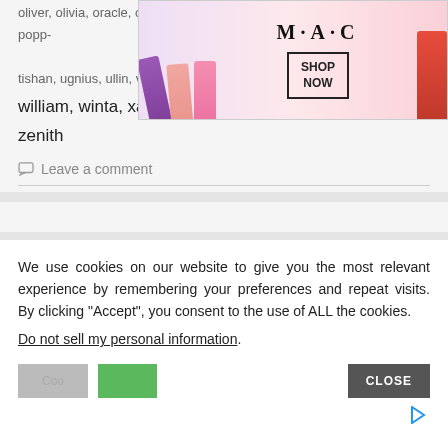oliver, olivia, oracle, oscar, otli, payith, petruta
[Figure (advertisement): MAC Cosmetics advertisement banner with lipsticks in purple, peach, pink, and red colors, MAC logo, and SHOP NOW button]
poppy, [hidden], tishan, ugnius, ullin, vericer, verona, wine,
william, winta, xanthia, yanky, yvette, zeliha, zenith
Leave a comment
We use cookies on our website to give you the most relevant experience by remembering your preferences and repeat visits. By clicking “Accept”, you consent to the use of ALL the cookies.
Do not sell my personal information.